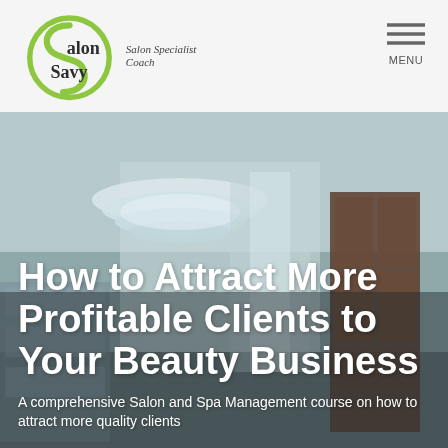[Figure (logo): Salon Savy logo with green circular S shape and text 'Salon Specialist Coach']
MENU
[Figure (photo): Interior of a beauty salon with a chandelier on the ceiling and display cabinets]
How to Attract More Profitable Clients to Your Beauty Business
A comprehensive Salon and Spa Management course on how to attract more quality clients